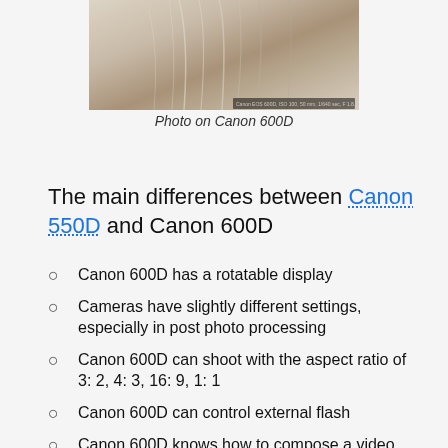[Figure (photo): Close-up photo of a bird (likely a snowy egret or similar white bird) taken on Canon 600D, with a small watermark/caption overlay at bottom right showing camera settings.]
Photo on Canon 600D
The main differences between Canon 550D and Canon 600D
Canon 600D has a rotatable display
Cameras have slightly different settings, especially in post photo processing
Canon 600D can shoot with the aspect ratio of 3: 2, 4: 3, 16: 9, 1: 1
Canon 600D can control external flash
Canon 600D knows how to compose a video series
Canon 600D adds DISP button and sensor